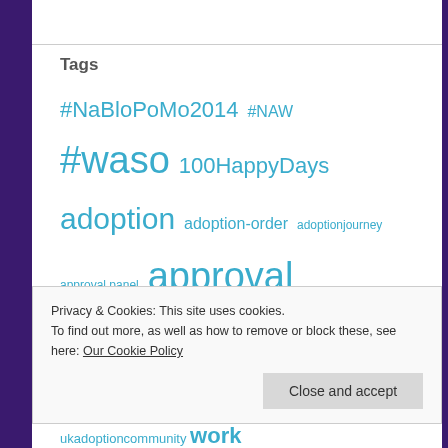Tags
#NaBloPoMo2014 #NAW #WASO 100HappyDays adoption adoption-order adoptionjourney approval panel approval process boundaries catsofinstagram childcare children family foster-carer friends goodbyes Henry-cat Henry-dog holiday home-study illness Intros LAC-review legocityadvent matching-panel matching process meetings movinghouse NaBloPoMo2014 newhouse newkitchen nursery ukadoptioncommunity work
Privacy & Cookies: This site uses cookies.
To find out more, as well as how to remove or block these, see here: Our Cookie Policy
Close and accept